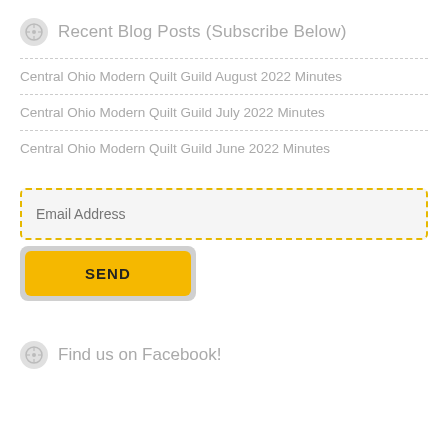Recent Blog Posts (Subscribe Below)
Central Ohio Modern Quilt Guild August 2022 Minutes
Central Ohio Modern Quilt Guild July 2022 Minutes
Central Ohio Modern Quilt Guild June 2022 Minutes
Email Address
SEND
Find us on Facebook!